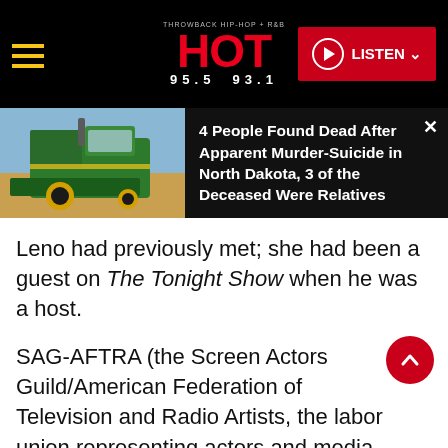HOT 95.5 93.1 — LISTEN
[Figure (screenshot): Notification/ad overlay showing a green John Deere combine harvester in a field with headline: 4 People Found Dead After Apparent Murder-Suicide in North Dakota, 3 of the Deceased Were Relatives]
Leno had previously met; she had been a guest on The Tonight Show when he was a host.
SAG-AFTRA (the Screen Actors Guild/American Federation of Television and Radio Artists, the labor union representing actors and media professionals) is currently investigating the situation.